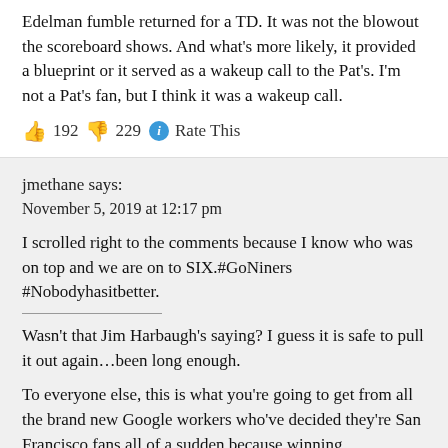Edelman fumble returned for a TD. It was not the blowout the scoreboard shows. And what's more likely, it provided a blueprint or it served as a wakeup call to the Pat's. I'm not a Pat's fan, but I think it was a wakeup call.
👍 192 👎 229 ℹ Rate This
jmethane says:
November 5, 2019 at 12:17 pm
I scrolled right to the comments because I know who was on top and we are on to SIX.#GoNiners #Nobodyhasitbetter.
Wasn't that Jim Harbaugh's saying? I guess it is safe to pull it out again…been long enough.
To everyone else, this is what you're going to get from all the brand new Google workers who've decided they're San Francisco fans all of a sudden because winning…